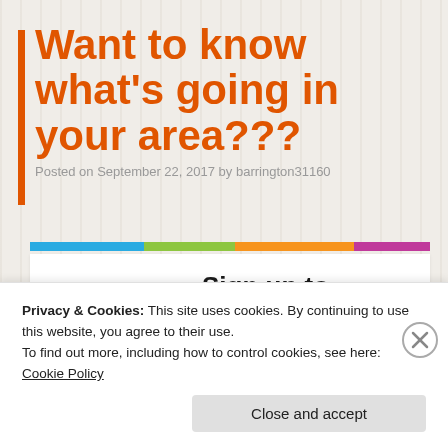Want to know what's going in your area???
Posted on September 22, 2017 by barrington31160
[Figure (infographic): WMNow sign-up advertisement with circular logo (blue, green, orange, magenta arrows) and text 'Sign up to WMNow today — Get all the latest information about what's happening in']
Privacy & Cookies: This site uses cookies. By continuing to use this website, you agree to their use.
To find out more, including how to control cookies, see here: Cookie Policy
Close and accept